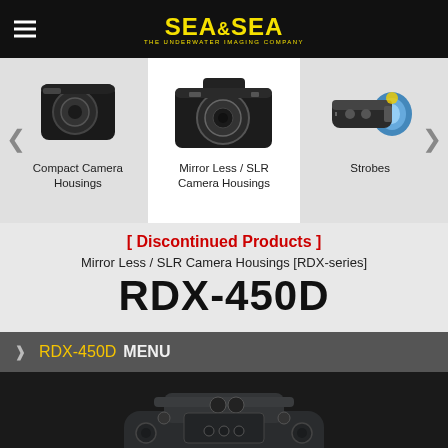SEA&SEA THE UNDERWATER IMAGING COMPANY
[Figure (photo): Carousel of three product categories: Compact Camera Housings (left), Mirror Less / SLR Camera Housings (center, active/highlighted), Strobes (right). Navigation arrows on sides.]
Compact Camera Housings
Mirror Less / SLR Camera Housings
Strobes
[ Discontinued Products ]
Mirror Less / SLR Camera Housings [RDX-series]
RDX-450D
RDX-450D MENU
[Figure (photo): Product photo of the RDX-450D underwater camera housing, black/dark metallic finish, viewed from above/rear angle, on dark background.]